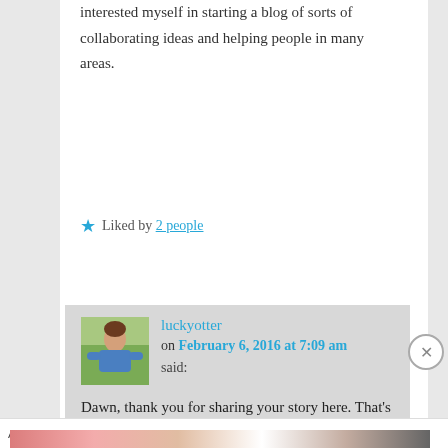interested myself in starting a blog of sorts of collaborating ideas and helping people in many areas.
★ Liked by 2 people
Reply ↓
luckyotter on February 6, 2016 at 7:09 am said:
Dawn, thank you for sharing your story here. That's good you have no
Advertisements